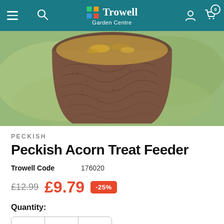Trowell Garden Centre
[Figure (photo): Close-up photo of a brown textured acorn-shaped bird treat feeder hanging against a blurred green outdoor background]
PECKISH
Peckish Acorn Treat Feeder
Trowell Code 176020
£12.99 £9.79 -25%
Quantity: